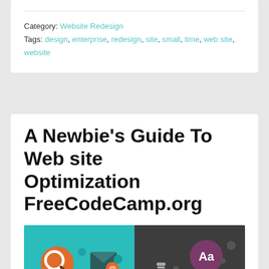Category: Website Redesign
Tags: design, enterprise, redesign, site, small, time, web site, website
A Newbie's Guide To Web site Optimization FreeCodeCamp.org
[Figure (illustration): Flat design icons illustration split into two halves: left half has teal background with search, email, and media player icons; right half has dark gray background with lightbulb, typography 'Aa', and monitor/design icons.]